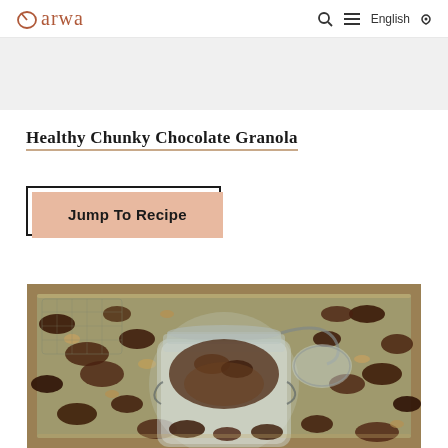arwa — English
Healthy Chunky Chocolate Granola
Jump To Recipe
[Figure (photo): Chunky chocolate granola spread on a baking tray with a glass jar filled with granola in the center, lid open]